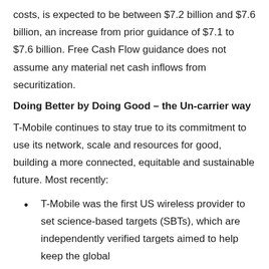costs, is expected to be between $7.2 billion and $7.6 billion, an increase from prior guidance of $7.1 to $7.6 billion. Free Cash Flow guidance does not assume any material net cash inflows from securitization.
Doing Better by Doing Good – the Un-carrier way
T-Mobile continues to stay true to its commitment to use its network, scale and resources for good, building a more connected, equitable and sustainable future. Most recently:
T-Mobile was the first US wireless provider to set science-based targets (SBTs), which are independently verified targets aimed to help keep the global